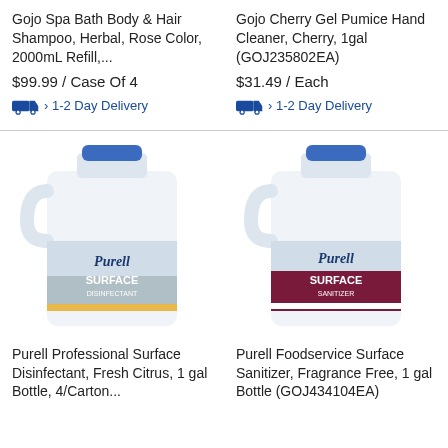Gojo Spa Bath Body & Hair Shampoo, Herbal, Rose Color, 2000mL Refill,...
Gojo Cherry Gel Pumice Hand Cleaner, Cherry, 1gal (GOJ235802EA)
$99.99 / Case Of 4
$31.49 / Each
› 1-2 Day Delivery
› 1-2 Day Delivery
[Figure (photo): Purell Professional Surface Disinfectant 1 gallon bottle with blue cap and grey/black label]
[Figure (photo): Purell Foodservice Surface Sanitizer 1 gallon bottle with blue cap and maroon/dark red label]
Purell Professional Surface Disinfectant, Fresh Citrus, 1 gal Bottle, 4/Carton...
Purell Foodservice Surface Sanitizer, Fragrance Free, 1 gal Bottle (GOJ434104EA)